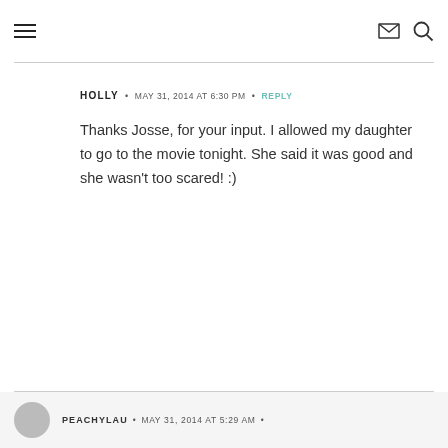Navigation icons: hamburger menu, email, search
HOLLY • MAY 31, 2014 AT 6:30 PM • REPLY
Thanks Josse, for your input. I allowed my daughter to go to the movie tonight. She said it was good and she wasn't too scared! :)
PEACHYLAU • MAY 31, 2014 AT 5:29 AM •